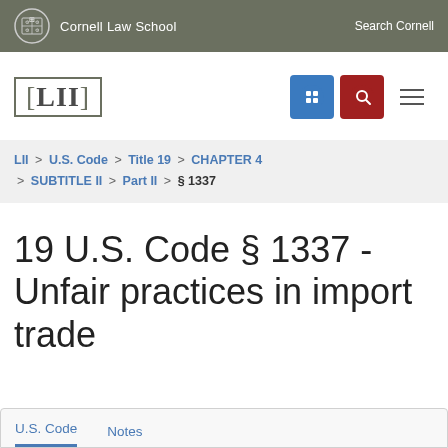Cornell Law School   Search Cornell
[Figure (logo): LII (Legal Information Institute) logo with Cornell shield]
LII > U.S. Code > Title 19 > CHAPTER 4 > SUBTITLE II > Part II > §1337
19 U.S. Code § 1337 - Unfair practices in import trade
U.S. Code   Notes